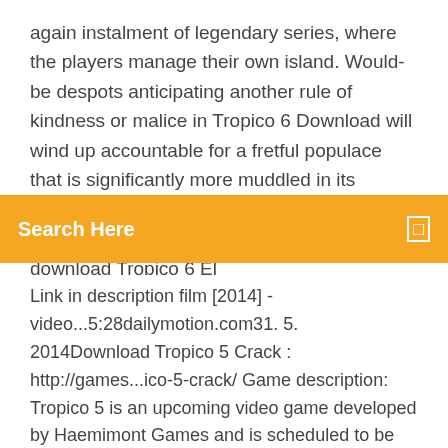again instalment of legendary series, where the players manage their own island. Would-be despots anticipating another rule of kindness or malice in Tropico 6 Download will wind up accountable for a fretful populace that is significantly more muddled in its sentiments, its efficiency, and even has a memory. In this video, I show you how to download Tropico 6 El
[Figure (screenshot): Orange search bar with text 'Search Here' and a search icon on the right]
Link in description film [2014] - video...5:28dailymotion.com31. 5. 2014Download Tropico 5 Crack : http://games...ico-5-crack/ Game description: Tropico 5 is an upcoming video game developed by Haemimont Games and is scheduled to be released the 23rd of May 2014.Download tpk 2017 torrent free - 8) BitSnoop – Best Torrent...https://btechwale.com/download-tpk-2017-torrent-free.html1. Install ES File Manager on Nvidia Shield TV 2017 µTorrent- Torrent Downloader APKs - APKMirror Download tpk 2017 torrent free